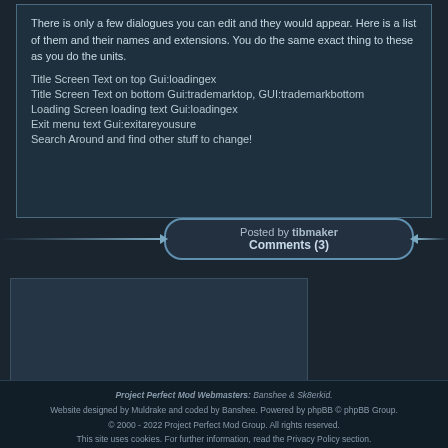There is only a few dialogues you can edit and they would appear. Here is a list of them and their names and extensions. You do the same exact thing to these as you do the units.
Title Screen Text on top Gui:loadingex
Title Screen Text on bottom Gui:trademarktop, GUI:trademarkbottom
Loading Screen loading text Gui:loadingex
Exit menu text Gui:exitareyousure
Search Around and find other stuff to change!
Posted by tibmaker
Comments (3)
[Figure (other): Advertisement or empty content box]
Project Perfect Mod Webmasters: Banshee & Sk8erkid.
Website designed by Muldrake and coded by Banshee. Powered by phpBB © phpBB Group.
© 2000 - 2022 Project Perfect Mod Group. All rights reserved.
This site uses cookies. For further information, read the Privacy Policy section.